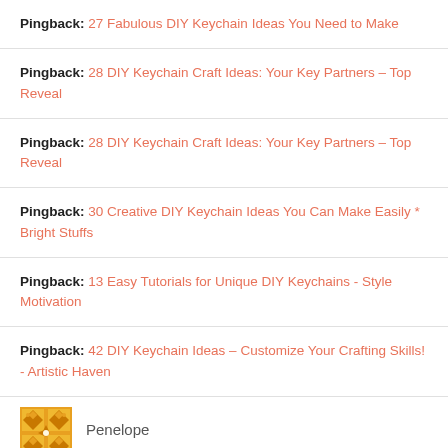Pingback: 27 Fabulous DIY Keychain Ideas You Need to Make
Pingback: 28 DIY Keychain Craft Ideas: Your Key Partners – Top Reveal
Pingback: 28 DIY Keychain Craft Ideas: Your Key Partners – Top Reveal
Pingback: 30 Creative DIY Keychain Ideas You Can Make Easily * Bright Stuffs
Pingback: 13 Easy Tutorials for Unique DIY Keychains - Style Motivation
Pingback: 42 DIY Keychain Ideas – Customize Your Crafting Skills! - Artistic Haven
Penelope